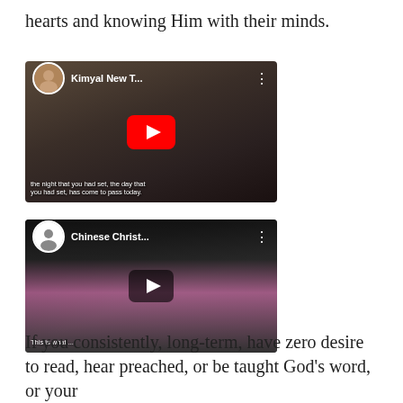hearts and knowing Him with their minds.
[Figure (screenshot): YouTube video thumbnail for 'Kimyal New T...' showing a group scene with subtitle text: 'the night that you had set, the day that you had set, has come to pass today.']
[Figure (screenshot): YouTube video thumbnail for 'Chinese Christ...' showing a person in pink shirt, with subtitle text: 'This is what ...']
If you consistently, long-term, have zero desire to read, hear preached, or be taught God's word, or your